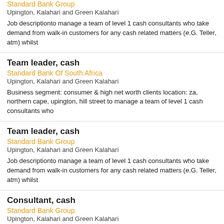Team leader, cash (partial top)
Standard Bank Group
Upington, Kalahari and Green Kalahari
Job descriptionto manage a team of level 1 cash consultants who take demand from walk-in customers for any cash related matters (e.G. Teller, atm) whilst
Team leader, cash
Standard Bank Of South Africa
Upington, Kalahari and Green Kalahari
Business segment: consumer & high net worth clients location: za, northern cape, upington, hill street to manage a team of level 1 cash consultants who
Team leader, cash
Standard Bank Group
Upington, Kalahari and Green Kalahari
Job descriptionto manage a team of level 1 cash consultants who take demand from walk-in customers for any cash related matters (e.G. Teller, atm) whilst
Consultant, cash
Standard Bank Group
Upington, Kalahari and Green Kalahari
Job descriptionto take demand from walk-in customers for any cash related matters (e.G. Teller, atm) whilst for insurance pur...